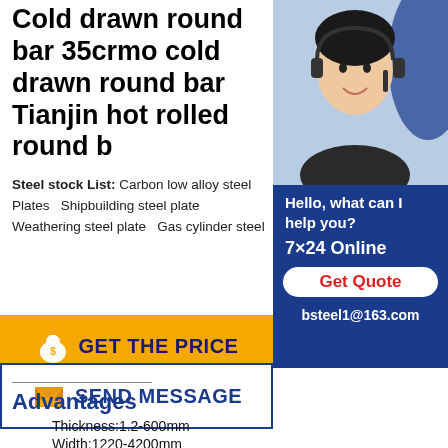Cold drawn round bar 35crmo cold drawn round bar Tianjin hot rolled round b
Steel stock List: Carbon low alloy steel Plates  Shipbuilding steel plate  Weathering steel plate  Gas cylinder steel
[Figure (photo): Customer service representative wearing headset, smiling. Blue background with chat widget showing: Hello, what can I help you? 7x24 Online, Get Quote button, bsteel1@163.com]
[Figure (infographic): Yellow button with money bag icon: GET THE PRICE]
[Figure (infographic): White button with envelope icon and blue border: SEND MESSAGE]
Advantages
Thickness:1.2-600mm
Width:1220-4200mm